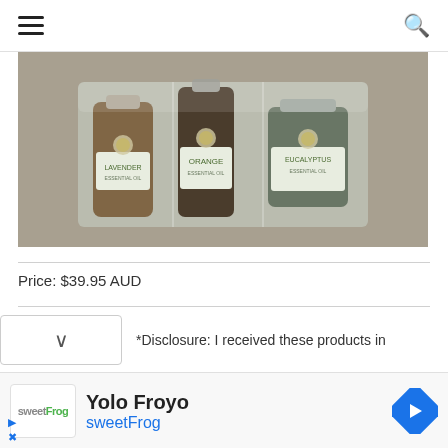Navigation bar with hamburger menu and search icon
[Figure (photo): Product photo showing essential oil bottles (lavender, orange, eucalyptus) arranged in a tray with natural background]
Price: $39.95 AUD
*Disclosure: I received these products in
[Figure (infographic): Advertisement banner for Yolo Froyo / sweetFrog with logo and navigation arrow]